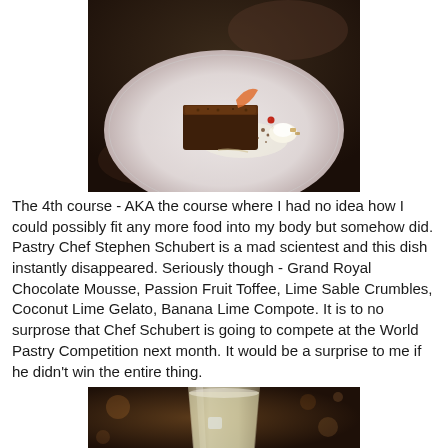[Figure (photo): A plated fine dining dessert on a white round plate - appears to be a chocolate mousse block dusted with cocoa powder, accompanied by cream, crumbles and garnishes, set on a dark restaurant table.]
The 4th course - AKA the course where I had no idea how I could possibly fit any more food into my body but somehow did. Pastry Chef Stephen Schubert is a mad scientest and this dish instantly disappeared. Seriously though - Grand Royal Chocolate Mousse, Passion Fruit Toffee, Lime Sable Crumbles, Coconut Lime Gelato, Banana Lime Compote. It is to no surprose that Chef Schubert is going to compete at the World Pastry Competition next month. It would be a surprise to me if he didn't win the entire thing.
[Figure (photo): A close-up photo of a glass filled with a light-colored drink, possibly a cocktail or lemonade, with bokeh lights in the dark background.]